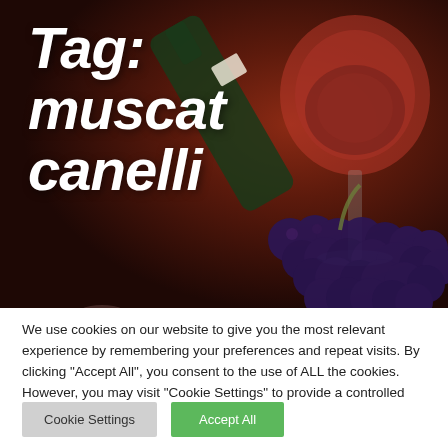[Figure (photo): Dark red/brown background hero image of a wine bottle being poured, a glass of red wine, and clusters of dark blue grapes arranged on a rustic surface.]
Tag: muscat canelli
We use cookies on our website to give you the most relevant experience by remembering your preferences and repeat visits. By clicking “Accept All”, you consent to the use of ALL the cookies. However, you may visit "Cookie Settings" to provide a controlled consent.